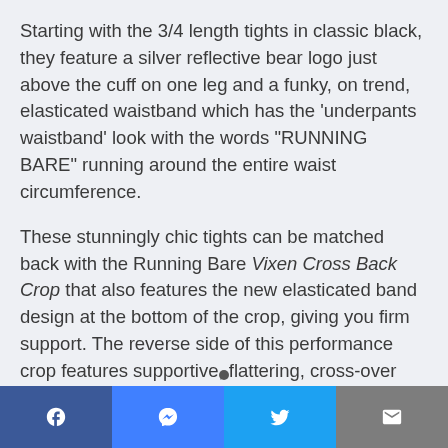Starting with the 3/4 length tights in classic black, they feature a silver reflective bear logo just above the cuff on one leg and a funky, on trend, elasticated waistband which has the 'underpants waistband' look with the words "RUNNING BARE" running around the entire waist circumference.
These stunningly chic tights can be matched back with the Running Bare Vixen Cross Back Crop that also features the new elasticated band design at the bottom of the crop, giving you firm support. The reverse side of this performance crop features supportive, flattering, cross-over straps. Complete with a silver reflective bear logo on the front.
Facebook | Messenger | Twitter | Email